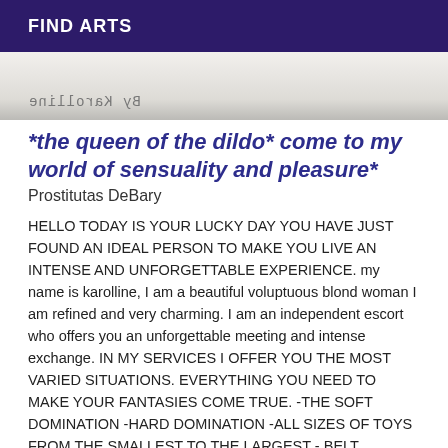FIND ARTS
[Figure (photo): Partial photo showing mirrored/watermarked text 'By Karolline' at the bottom]
*the queen of the dildo* come to my world of sensuality and pleasure*
Prostitutas DeBary
HELLO TODAY IS YOUR LUCKY DAY YOU HAVE JUST FOUND AN IDEAL PERSON TO MAKE YOU LIVE AN INTENSE AND UNFORGETTABLE EXPERIENCE. my name is karolline, I am a beautiful voluptuous blond woman I am refined and very charming. I am an independent escort who offers you an unforgettable meeting and intense exchange. IN MY SERVICES I OFFER YOU THE MOST VARIED SITUATIONS. EVERYTHING YOU NEED TO MAKE YOUR FANTASIES COME TRUE. -THE SOFT DOMINATION -HARD DOMINATION -ALL SIZES OF TOYS FROM THE SMALLEST TO THE LARGEST - BELT BUCKET WITH AND WITHOUT VIBRATION